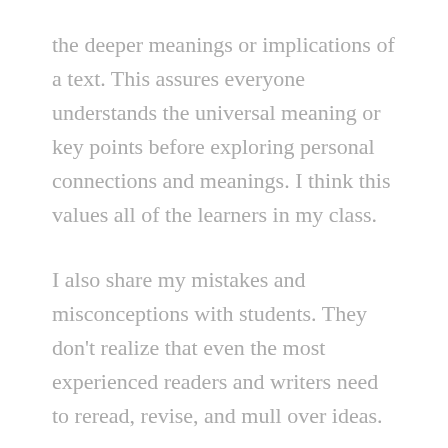the deeper meanings or implications of a text. This assures everyone understands the universal meaning or key points before exploring personal connections and meanings. I think this values all of the learners in my class.
I also share my mistakes and misconceptions with students. They don't realize that even the most experienced readers and writers need to reread, revise, and mull over ideas.
Thank you, Donalyn, for your time and your commitment to young readers. Find out more about Donalyn and her books at